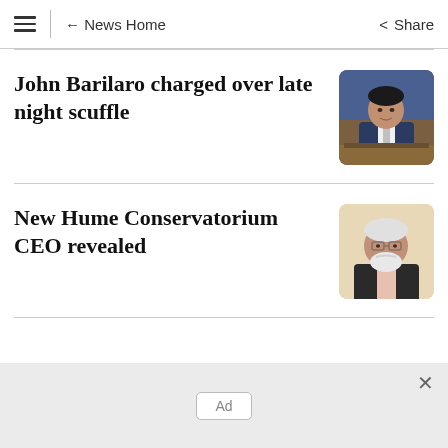≡  ← News Home    Share
John Barilaro charged over late night scuffle
[Figure (photo): Photo of John Barilaro, a man in a blue suit sitting at a desk with bookshelves in the background]
New Hume Conservatorium CEO revealed
[Figure (photo): Photo of an older man with glasses and a white beard wearing a dark jacket]
Ad